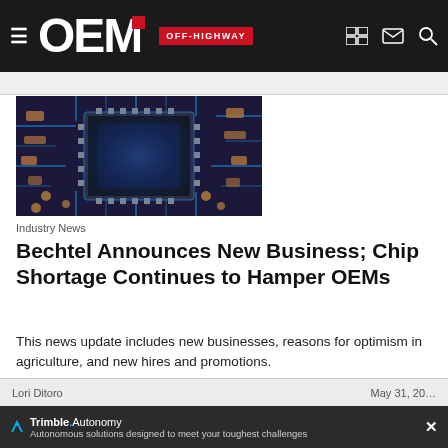OEM Off-Highway
[Figure (photo): Close-up photo of a computer circuit board with a large processor chip in the center, glowing in blue tones with copper-colored electronic components surrounding it.]
Industry News
Bechtel Announces New Business; Chip Shortage Continues to Hamper OEMs
This news update includes new businesses, reasons for optimism in agriculture, and new hires and promotions.
Lori Ditoro  |  May 31, 20…
Trimble.Autonomy  Autonomous solutions designed to meet your toughest challenges